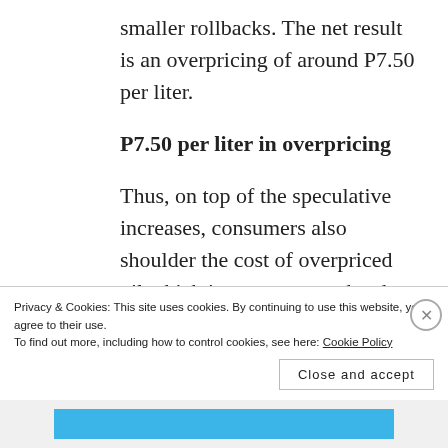smaller rollbacks. The net result is an overpricing of around P7.50 per liter.
P7.50 per liter in overpricing
Thus, on top of the speculative increases, consumers also shoulder the cost of overpriced oil which is an enormous burden for ordinary folks. Consider, for instance, a lowly tsuper who uses
Privacy & Cookies: This site uses cookies. By continuing to use this website, you agree to their use.
To find out more, including how to control cookies, see here: Cookie Policy
Close and accept